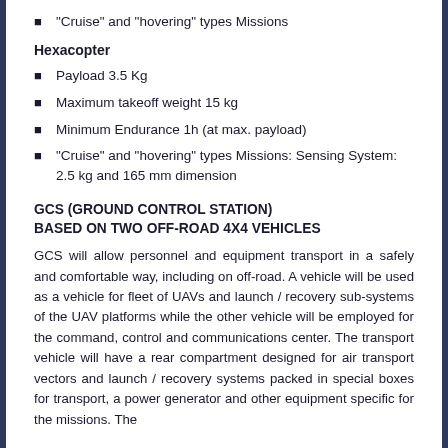"Cruise" and "hovering" types Missions
Hexacopter
Payload 3.5 Kg
Maximum takeoff weight 15 kg
Minimum Endurance 1h (at max. payload)
"Cruise" and "hovering" types Missions: Sensing System: 2.5 kg and 165 mm dimension
GCS (GROUND CONTROL STATION)
BASED ON TWO OFF-ROAD 4X4 VEHICLES
GCS will allow personnel and equipment transport in a safely and comfortable way, including on off-road. A vehicle will be used as a vehicle for fleet of UAVs and launch / recovery sub-systems of the UAV platforms while the other vehicle will be employed for the command, control and communications center. The transport vehicle will have a rear compartment designed for air transport vectors and launch / recovery systems packed in special boxes for transport, a power generator and other equipment specific for the missions. The